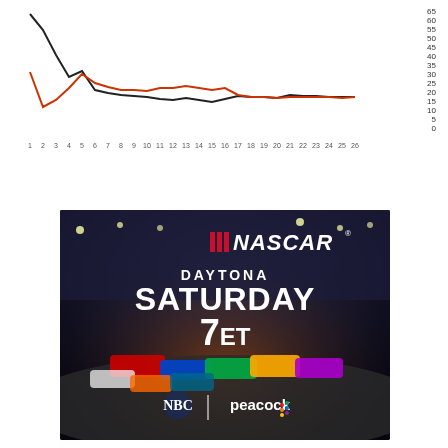[Figure (line-chart): Two-line chart with a black line starting high (~65) and declining to ~30, and an orange/red line starting ~38, dipping to ~25, peaking ~42 at race 5, then declining to ~30, both converging near race 26.]
[Figure (photo): NASCAR Daytona Saturday 7ET promotional image showing race cars on a night track with NBC and Peacock logos]